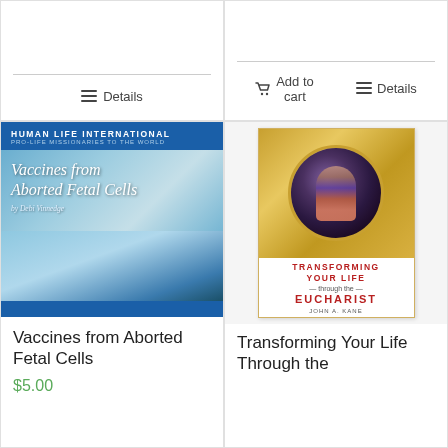[Figure (other): Product card top-left with Details button]
[Figure (other): Product card top-right with Add to cart and Details buttons]
[Figure (illustration): Book cover: Vaccines from Aborted Fetal Cells by Debi Vinnedge, Human Life International, Pro-Life Missionaries to the World]
Vaccines from Aborted Fetal Cells
$5.00
[Figure (illustration): Book cover: Transforming Your Life Through the Eucharist by John A. Kane, with religious painting in circular gold frame]
Transforming Your Life Through the